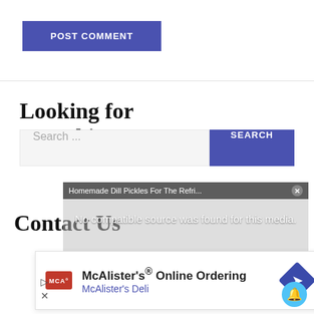[Figure (screenshot): Blue 'POST COMMENT' button]
Looking for something?
[Figure (screenshot): Search bar with 'Search ...' placeholder and blue 'SEARCH' button]
[Figure (screenshot): Video overlay showing 'Homemade Dill Pickles For The Refr...' title with 'No compatible source was found for this media.' message]
Contact Us
[Figure (advertisement): McAlister's Online Ordering ad with McAlister's Deli logo and navigation arrow]